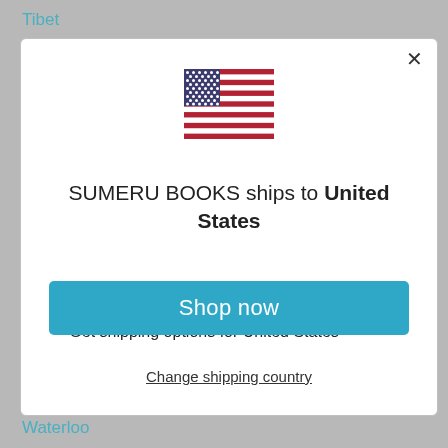Tibet
[Figure (illustration): US flag emoji/icon]
SUMERU BOOKS ships to United States
Shop in USD $
Get shipping options for United States
Shop now
Change shipping country
Waterloo